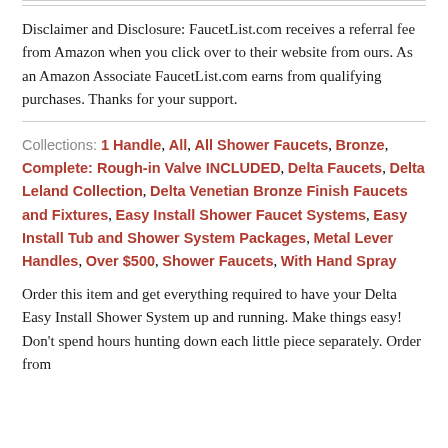Disclaimer and Disclosure: FaucetList.com receives a referral fee from Amazon when you click over to their website from ours. As an Amazon Associate FaucetList.com earns from qualifying purchases. Thanks for your support.
Collections: 1 Handle, All, All Shower Faucets, Bronze, Complete: Rough-in Valve INCLUDED, Delta Faucets, Delta Leland Collection, Delta Venetian Bronze Finish Faucets and Fixtures, Easy Install Shower Faucet Systems, Easy Install Tub and Shower System Packages, Metal Lever Handles, Over $500, Shower Faucets, With Hand Spray
Order this item and get everything required to have your Delta Easy Install Shower System up and running. Make things easy! Don't spend hours hunting down each little piece separately. Order from